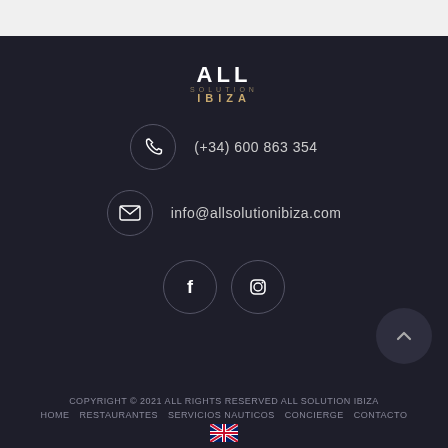[Figure (logo): ALL SOLUTION IBIZA logo with stylized text in white and gold/brown tones]
(+34) 600 863 354
info@allsolutionibiza.com
[Figure (illustration): Facebook and Instagram social media icon circles]
COPYRIGHT © 2021 ALL RIGHTS RESERVED ALL SOLUTION IBIZA
HOME   RESTAURANTES   SERVICIOS NAUTICOS   CONCIERGE   CONTACTO